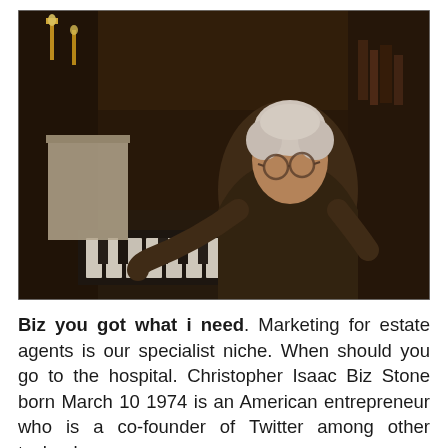[Figure (photo): An elderly person with white hair and glasses sitting at and playing a piano in a dim, warmly lit interior setting with bookshelves and candles in the background.]
Biz you got what i need. Marketing for estate agents is our specialist niche. When should you go to the hospital. Christopher Isaac Biz Stone born March 10 1974 is an American entrepreneur who is a co-founder of Twitter among other technology